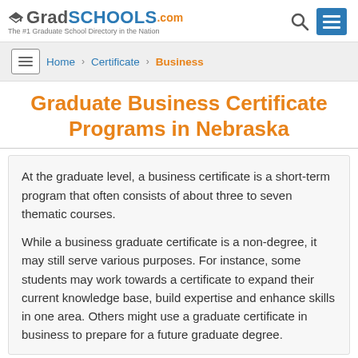GradSchools.com — The #1 Graduate School Directory in the Nation
Home > Certificate > Business
Graduate Business Certificate Programs in Nebraska
At the graduate level, a business certificate is a short-term program that often consists of about three to seven thematic courses.
While a business graduate certificate is a non-degree, it may still serve various purposes. For instance, some students may work towards a certificate to expand their current knowledge base, build expertise and enhance skills in one area. Others might use a graduate certificate in business to prepare for a future graduate degree.